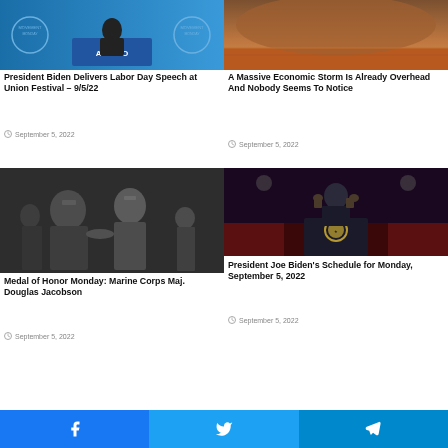[Figure (photo): President Biden at AFL-CIO podium with blue background]
President Biden Delivers Labor Day Speech at Union Festival – 9/5/22
September 5, 2022
[Figure (photo): Desert landscape with large dust storm overhead, orange-red terrain]
A Massive Economic Storm Is Already Overhead And Nobody Seems To Notice
September 5, 2022
[Figure (photo): Black and white photo of military personnel, Medal of Honor ceremony]
Medal of Honor Monday: Marine Corps Maj. Douglas Jacobson
September 5, 2022
[Figure (photo): President Biden at podium with Presidential seal, dark dramatic lighting]
President Joe Biden's Schedule for Monday, September 5, 2022
September 5, 2022
Facebook | Twitter | Telegram